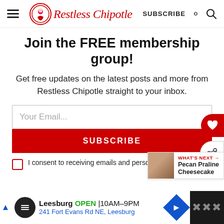Restless Chipotle — SUBSCRIBE
Join the FREE membership group!
Get free updates on the latest posts and more from Restless Chipotle straight to your inbox.
Your Email...
SUBSCRIBE
I consent to receiving emails and personalized ads.
WHAT'S NEXT → Pecan Praline Cheesecake
Leesburg OPEN 10AM–9PM 241 Fort Evans Rd NE, Leesburg